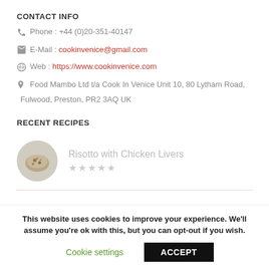CONTACT INFO
Phone : +44 (0)20-351-40147
E-Mail : cookinvenice@gmail.com
Web : https://www.cookinvenice.com
Food Mambo Ltd t/a Cook In Venice Unit 10, 80 Lytham Road, Fulwood, Preston, PR2 3AQ UK
RECENT RECIPES
Risotto with Chicken Livers
This website uses cookies to improve your experience. We'll assume you're ok with this, but you can opt-out if you wish.
Cookie settings  ACCEPT